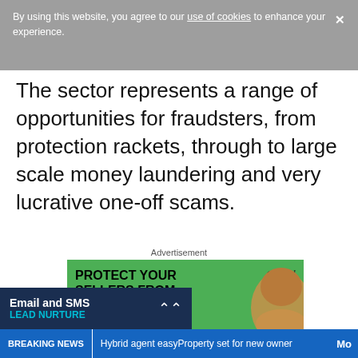By using this website, you agree to our use of cookies to enhance your experience.
The sector represents a range of opportunities for fraudsters, from protection rackets, through to large scale money laundering and very lucrative one-off scams.
Advertisement
[Figure (screenshot): Advertisement banner for Gazeal: 'PROTECT YOUR SELLERS FROM BUYERS LIKE ELON.' with a yellow 'TELL ME MORE' button, green background, and a photo of Elon Musk on the right side.]
Email and SMS LEAD NURTURE
BREAKING NEWS | Hybrid agent easyProperty set for new owner